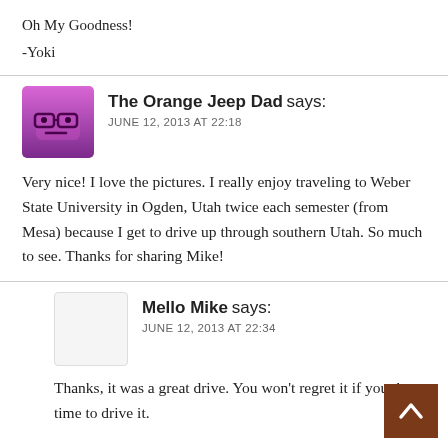Oh My Goodness!
-Yoki
The Orange Jeep Dad says: JUNE 12, 2013 AT 22:18
Very nice! I love the pictures. I really enjoy traveling to Weber State University in Ogden, Utah twice each semester (from Mesa) because I get to drive up through southern Utah. So much to see. Thanks for sharing Mike!
Mello Mike says: JUNE 12, 2013 AT 22:34
Thanks, it was a great drive. You won't regret it if you the time to drive it.